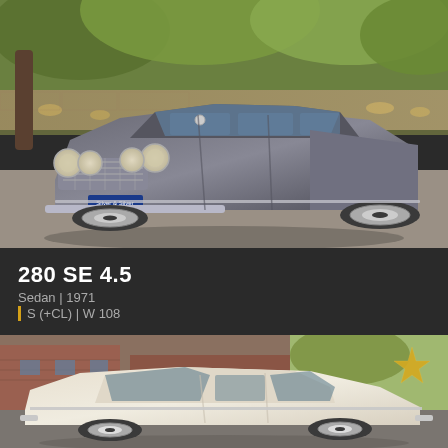[Figure (photo): Classic dark grey Mercedes-Benz 280 SE 4.5 sedan, front three-quarter view, parked on gravel driveway with lush garden and trees in background, license plate area shows dealer badge]
280 SE 4.5
Sedan | 1971
S (+CL) | W 108
[Figure (photo): Classic white/cream Mercedes-Benz sedan, side view, parked in front of brick building, with a star emblem/logo visible in upper right corner]